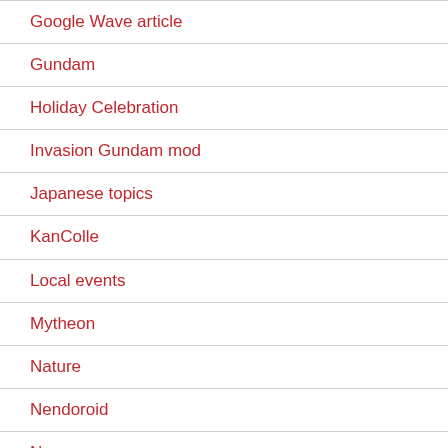Google Wave article
Gundam
Holiday Celebration
Invasion Gundam mod
Japanese topics
KanColle
Local events
Mytheon
Nature
Nendoroid
News
Ottawa
Petroglyph